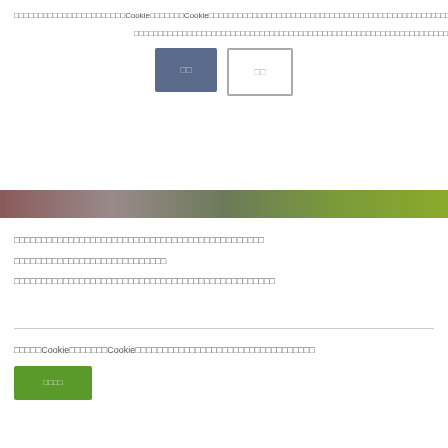□□□□□□□□□□□□□□□□□□□□□□□Cookie□□□□□□□Cookie□□□□□□□□□□□□□□□□□□□□□□□□□□□□□□□□□□□□□□□□□□□□□□□□□□□□□□□□□□□□□□□□□□□□□□□□□□□□□□□□□□Cookie□□□□□□□□□□□□□□□□□□□□
□□□□□□□□□□□□□□□□□□□□□□□□□□□□□□□□□□□□□□□□□□□□□□□□□□□□□□□□□□□□□□□□□□□□□□□□□□□□□□□□□□Cookie□□□□□□□□□
□□
□□
[Figure (other): Horizontal gradient bar transitioning from brownish-red on the left through gray in the middle to olive green on the right]
□□□□□□□□□□□□□□□□□□□□□□□□□□□□□□□□□□□□□□□□□□□□□□
□□□□□□□□□□□□□□□□□□□□□□□□□□□□
□□□□□□□□□□□□□□□□□□□□□□□□□□□□□□□□□□□□□□□□□□□□□□□□
□□□□□Cookie□□□□□□□Cookie□□□□□□□□□□□□□□□□□□□□□□□□□□□□□□□□□
□□□□